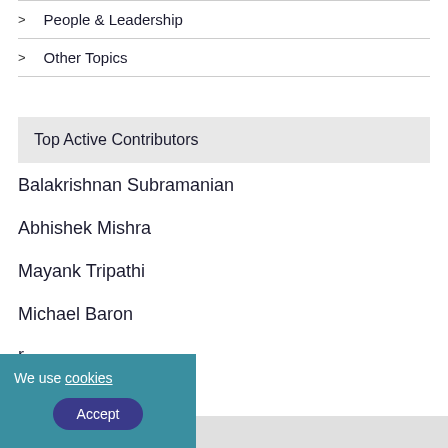> People & Leadership
> Other Topics
Top Active Contributors
Balakrishnan Subramanian
Abhishek Mishra
Mayank Tripathi
Michael Baron
We use cookies Accept